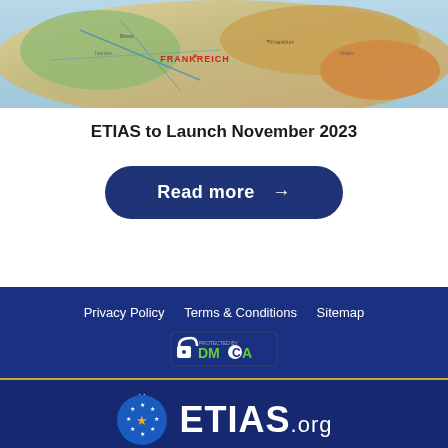[Figure (map): Colorful vintage atlas map showing Europe with labels in German, including FRANKREICH visible in red. Blues, greens, and warm tones.]
ETIAS to Launch November 2023
Read more →
Privacy Policy   Terms & Conditions   Sitemap
[Figure (logo): DMCA protected badge with lock icon and DMCA text in green and white]
[Figure (logo): ETIAS.org logo: circle with EU stars and golden star, white ETIAS.org text]
ETIAS.org is a privately owned website and it's not operated by the government.